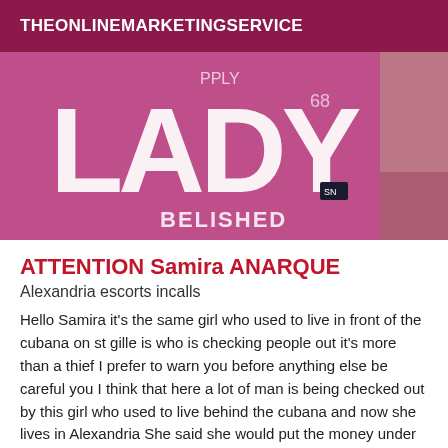THEONLINEMARKETINGSERVICE
[Figure (photo): Close-up photo of a person wearing a pink/magenta hoodie with large white letters spelling 'LADY' and text 'BELISHED' below, with some additional text partially visible]
ATTENTION Samira ANARQUE
Alexandria escorts incalls
Hello Samira it's the same girl who used to live in front of the cubana on st gille is who is checking people out it's more than a thief I prefer to warn you before anything else be careful you I think that here a lot of man is being checked out by this girl who used to live behind the cubana and now she lives in Alexandria She said she would put the money under the door or tell her friend to